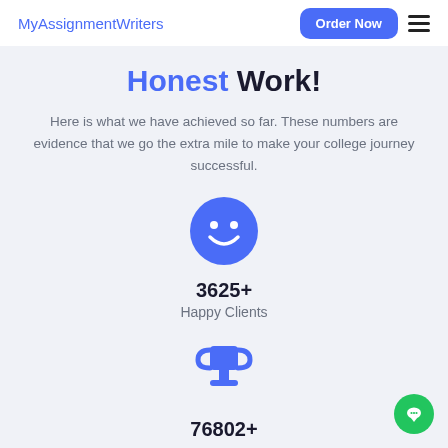MyAssignmentWriters
Honest Work!
Here is what we have achieved so far. These numbers are evidence that we go the extra mile to make your college journey successful.
[Figure (infographic): Blue smiley face icon representing happy clients]
3625+
Happy Clients
[Figure (infographic): Blue trophy icon representing achievements]
76802+